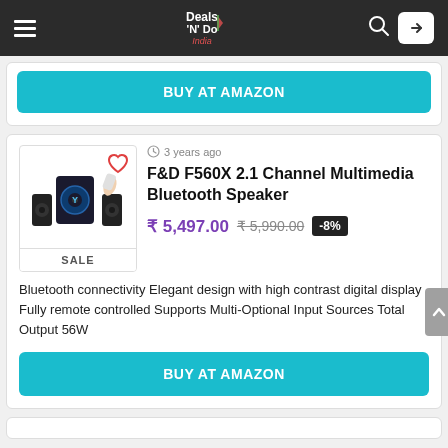Deals N Do India — navigation bar
BUY AT AMAZON
3 years ago
F&D F560X 2.1 Channel Multimedia Bluetooth Speaker
₹ 5,497.00  ₹ 5,990.00  -8%
[Figure (photo): F&D F560X 2.1 Channel Multimedia Bluetooth Speaker product image showing subwoofer and two satellite speakers]
SALE
Bluetooth connectivity Elegant design with high contrast digital display Fully remote controlled Supports Multi-Optional Input Sources Total Output 56W
BUY AT AMAZON